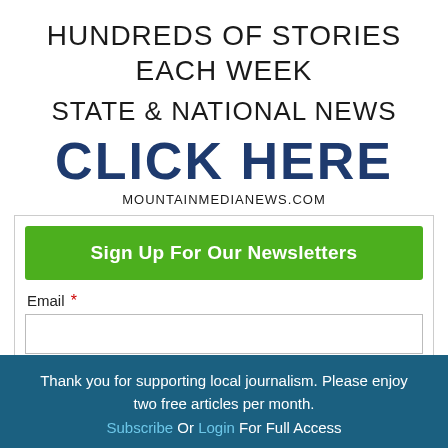HUNDREDS OF STORIES EACH WEEK
STATE & NATIONAL NEWS
CLICK HERE
MOUNTAINMEDIANEWS.COM
[Figure (screenshot): Newsletter sign-up form with green button labeled 'Sign Up For Our Newsletters', an Email field with red asterisk, a text input box, and a First Name label. A blue X close button appears at the bottom right.]
Thank you for supporting local journalism. Please enjoy two free articles per month. Subscribe Or Login For Full Access